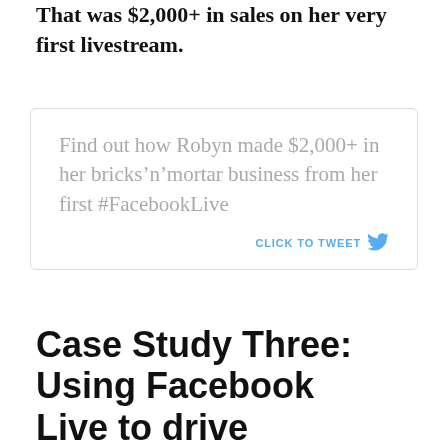That was $2,000+ in sales on her very first livestream.
[Figure (infographic): Tweet quote box with text: Find out how Robyn made $2,000+ in her bricks’n’mortar business from her first #FacebookLive. CLICK TO TWEET with Twitter bird icon.]
Case Study Three: Using Facebook Live to drive